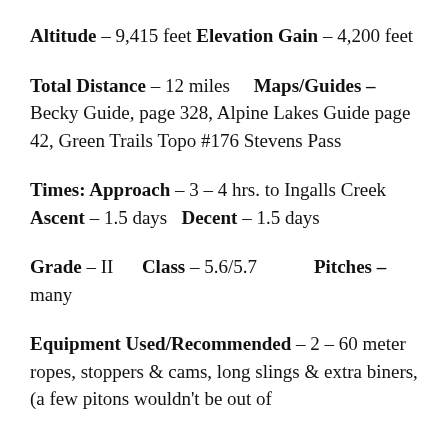Altitude – 9,415 feet  Elevation Gain – 4,200 feet
Total Distance – 12 miles    Maps/Guides – Becky Guide, page 328, Alpine Lakes Guide page 42, Green Trails Topo #176 Stevens Pass
Times: Approach – 3 – 4 hrs. to Ingalls Creek    Ascent – 1.5 days  Decent – 1.5 days
Grade – II    Class – 5.6/5.7          Pitches – many
Equipment Used/Recommended – 2 – 60 meter ropes, stoppers & cams, long slings & extra biners, (a few pitons wouldn't be out of